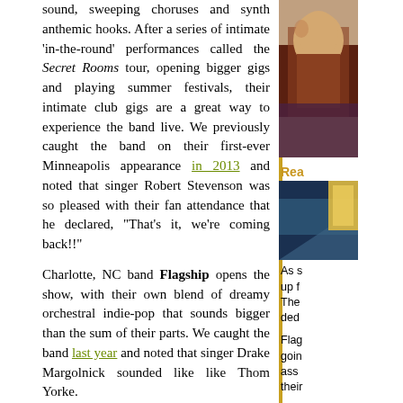sound, sweeping choruses and synth anthemic hooks. After a series of intimate 'in-the-round' performances called the Secret Rooms tour, opening bigger gigs and playing summer festivals, their intimate club gigs are a great way to experience the band live. We previously caught the band on their first-ever Minneapolis appearance in 2013 and noted that singer Robert Stevenson was so pleased with their fan attendance that he declared, "That's it, we're coming back!!"
Charlotte, NC band Flagship opens the show, with their own blend of dreamy orchestral indie-pop that sounds bigger than the sum of their parts. We caught the band last year and noted that singer Drake Margolnick sounded like like Thom Yorke.
Tour dates:
10/23 Denver, CO Bluebird Theater
10/25 Minneapolis, MN 7th Street Entry
10/26 Chicago, IL Lincoln Hall
10/27 Detroit, MI The Shelter
10/29 Cleveland, OH Beachland Ballroom
10/30 Indianapolis, IN Rathskeller
11/01 New York, NY Bowery Ballroom
11/02 Philadelphia, PA Union Transfer
11/04 Cambridge, MA The Sinclair
11/05 Uncasville, CT Wolf Den
11/06 Brooklyn, NY Rough Trade
11/07 Washington, DC Rock 'n Roll Hotel
11/09 Charlotte, NC Neighborhood Theatre
[Figure (photo): Portrait photo of a person on the right sidebar]
Rea
[Figure (photo): Secondary photo in the right sidebar]
As s up f The ded
Flag goin ass their